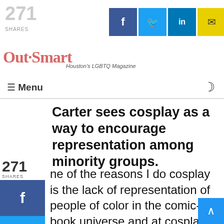271 SHARES | Facebook | Twitter | LinkedIn | Email | Out Smart - Houston's LGBTQ Magazine | Menu
...hero served as the titular character of their own broadcast animation series.
Carter sees cosplay as a way to encourage representation among minority groups.
One of the reasons I do cosplay is the lack of representation of people of color in the comic-book universe and at cosplay events. I read an article a few years ago about people who dress as white or 'white passing,' even though they have [other diverse] origins," Carter adds. "One year, I went trick-or-treating, and I was